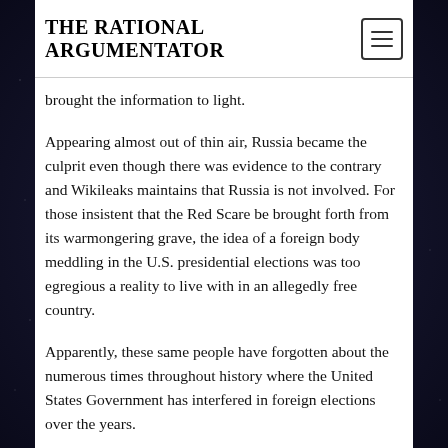THE RATIONAL ARGUMENTATOR
brought the information to light.
Appearing almost out of thin air, Russia became the culprit even though there was evidence to the contrary and Wikileaks maintains that Russia is not involved. For those insistent that the Red Scare be brought forth from its warmongering grave, the idea of a foreign body meddling in the U.S. presidential elections was too egregious a reality to live with in an allegedly free country.
Apparently, these same people have forgotten about the numerous times throughout history where the United States Government has interfered in foreign elections over the years.